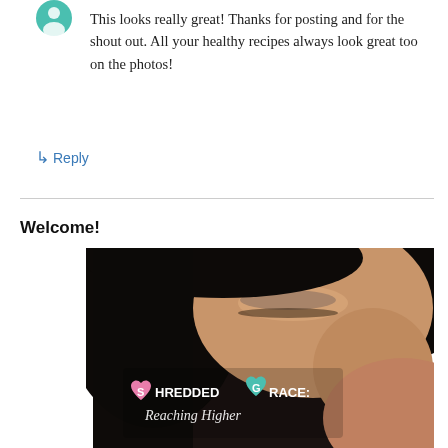[Figure (illustration): Small teal/green circular avatar icon with a person silhouette]
This looks really great! Thanks for posting and for the shout out. All your healthy recipes always look great too on the photos!
↳ Reply
Welcome!
[Figure (photo): Close-up photo of a woman's face looking down, dark hair, with overlay text reading 'SHREDDED GRACE: Reaching Higher' with small heart icons in pink/magenta]